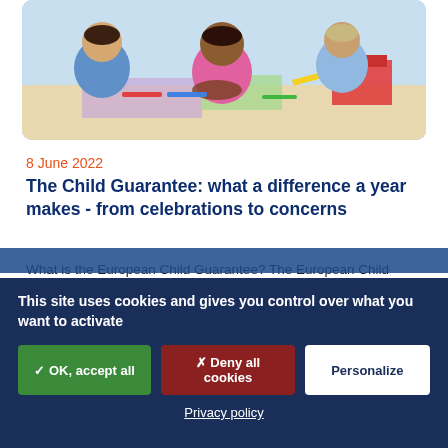[Figure (photo): Children sitting at a table drawing/coloring in a classroom setting. A girl in a pink shirt is visible in the foreground.]
8 June 2022
The Child Guarantee: what a difference a year makes - from celebrations to concerns
What is the European Child Guarantee? The European Child Guarantee was launched in March 2021 and adopted by the Council of the European Union in June 2021 by all 27...
read more
This site uses cookies and gives you control over what you want to activate
✓ OK, accept all
✗ Deny all cookies
Personalize
Privacy policy